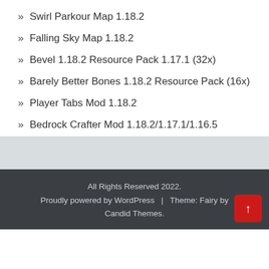Swirl Parkour Map 1.18.2
Falling Sky Map 1.18.2
Bevel 1.18.2 Resource Pack 1.17.1 (32x)
Barely Better Bones 1.18.2 Resource Pack (16x)
Player Tabs Mod 1.18.2
Bedrock Crafter Mod 1.18.2/1.17.1/1.16.5
All Rights Reserved 2022.
Proudly powered by WordPress | Theme: Fairy by Candid Themes.